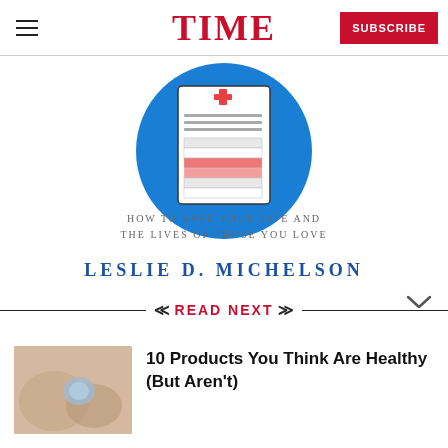TIME | SUBSCRIBE
[Figure (illustration): Book cover illustration showing a medical/health form icon on a blue circle background, with text 'HOW TO SAVE YOUR LIFE AND THE LIVES OF THOSE YOU LOVE' and author name 'LESLIE D. MICHELSON' partially visible]
READ NEXT
[Figure (photo): Thumbnail photo of a person applying or touching their arm, possibly with a loofah or scrub]
10 Products You Think Are Healthy (But Aren't)